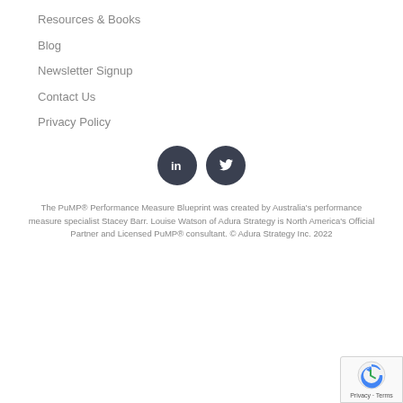Resources & Books
Blog
Newsletter Signup
Contact Us
Privacy Policy
[Figure (logo): LinkedIn and Twitter social media icons — dark circular buttons with white 'in' and bird icons]
The PuMP® Performance Measure Blueprint was created by Australia's performance measure specialist Stacey Barr. Louise Watson of Adura Strategy is North America's Official Partner and Licensed PuMP® consultant. © Adura Strategy Inc. 2022